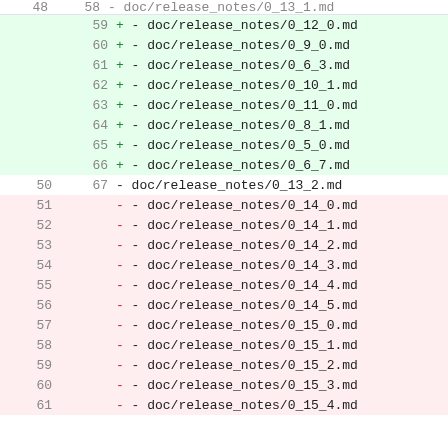| old | new | content |
| --- | --- | --- |
|  | 59 | +  -  doc/release_notes/0_12_0.md |
|  | 60 | +  -  doc/release_notes/0_9_0.md |
|  | 61 | +  -  doc/release_notes/0_6_3.md |
|  | 62 | +  -  doc/release_notes/0_10_1.md |
|  | 63 | +  -  doc/release_notes/0_11_0.md |
|  | 64 | +  -  doc/release_notes/0_8_1.md |
|  | 65 | +  -  doc/release_notes/0_5_0.md |
|  | 66 | +  -  doc/release_notes/0_6_7.md |
| 50 | 67 |    -  doc/release_notes/0_13_2.md |
| 51 |  | -  -  doc/release_notes/0_14_0.md |
| 52 |  | -  -  doc/release_notes/0_14_1.md |
| 53 |  | -  -  doc/release_notes/0_14_2.md |
| 54 |  | -  -  doc/release_notes/0_14_3.md |
| 55 |  | -  -  doc/release_notes/0_14_4.md |
| 56 |  | -  -  doc/release_notes/0_14_5.md |
| 57 |  | -  -  doc/release_notes/0_15_0.md |
| 58 |  | -  -  doc/release_notes/0_15_1.md |
| 59 |  | -  -  doc/release_notes/0_15_2.md |
| 60 |  | -  -  doc/release_notes/0_15_3.md |
| 61 |  | -  -  doc/release_notes/0_15_4.md |